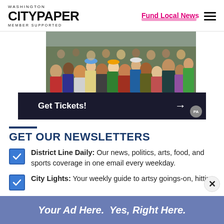Washington City Paper — Member Supported | Fund Local News
[Figure (photo): Crowd photo with Get Tickets! call-to-action bar]
GET OUR NEWSLETTERS
District Line Daily: Our news, politics, arts, food, and sports coverage in one email every weekday.
City Lights: Your weekly guide to artsy goings-on, hitting
Your Ad Here. Yes, Right Here.